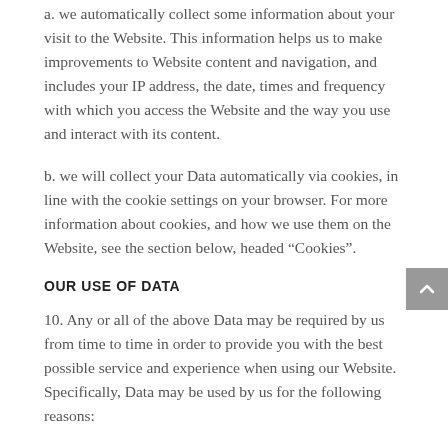a. we automatically collect some information about your visit to the Website. This information helps us to make improvements to Website content and navigation, and includes your IP address, the date, times and frequency with which you access the Website and the way you use and interact with its content.
b. we will collect your Data automatically via cookies, in line with the cookie settings on your browser. For more information about cookies, and how we use them on the Website, see the section below, headed “Cookies”.
OUR USE OF DATA
10. Any or all of the above Data may be required by us from time to time in order to provide you with the best possible service and experience when using our Website. Specifically, Data may be used by us for the following reasons: